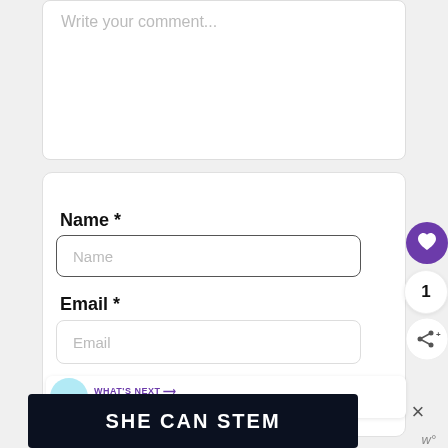Write your comment...
Name *
Name
Email *
Email
1
WHAT'S NEXT → actor, comedian...
[Figure (screenshot): SHE CAN STEM banner ad on dark background]
×
w°